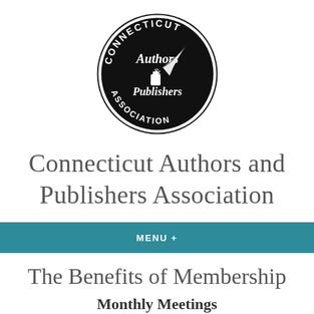[Figure (logo): Connecticut Authors and Publishers Association circular logo. Black circle with white text reading CONNECTICUT along the top arc and ASSOCIATION along the bottom arc. Center features script text 'Authors & Publishers' with an ink bottle and quill feather illustration.]
Connecticut Authors and Publishers Association
MENU +
The Benefits of Membership
Monthly Meetings